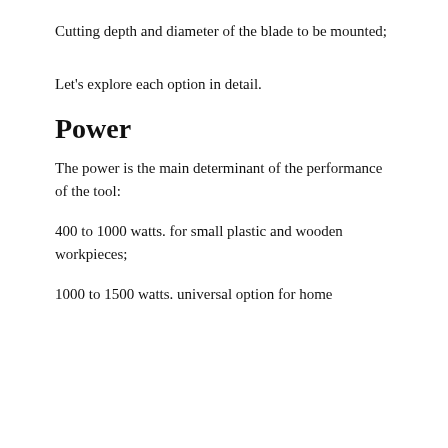Cutting depth and diameter of the blade to be mounted;
Let's explore each option in detail.
Power
The power is the main determinant of the performance of the tool:
400 to 1000 watts. for small plastic and wooden workpieces;
1000 to 1500 watts. universal option for home
We use cookies to ensure that we give you the best experience on our website. If you continue to use this site we will assume that you are happy with it.
Ok   Privacy policy